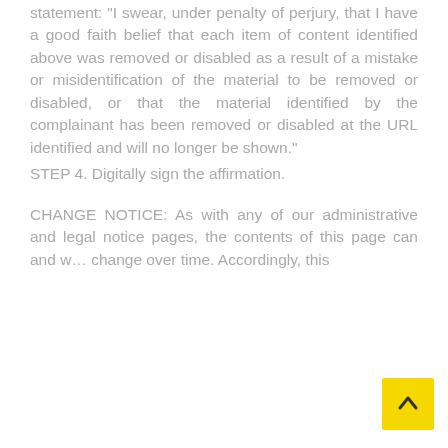statement: "I swear, under penalty of perjury, that I have a good faith belief that each item of content identified above was removed or disabled as a result of a mistake or misidentification of the material to be removed or disabled, or that the material identified by the complainant has been removed or disabled at the URL identified and will no longer be shown."
STEP 4. Digitally sign the affirmation.
CHANGE NOTICE: As with any of our administrative and legal notice pages, the contents of this page can and will change over time. Accordingly, this